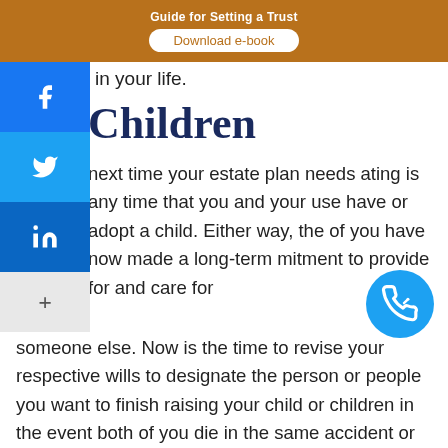Guide for Setting a Trust — Download e-book
in your life.
Children
next time your estate plan needs ating is any time that you and your use have or adopt a child. Either way, the of you have now made a long-term mitment to provide for and care for someone else. Now is the time to revise your respective wills to designate the person or people you want to finish raising your child or children in the event both of you die in the same accident or other catastrophic event.